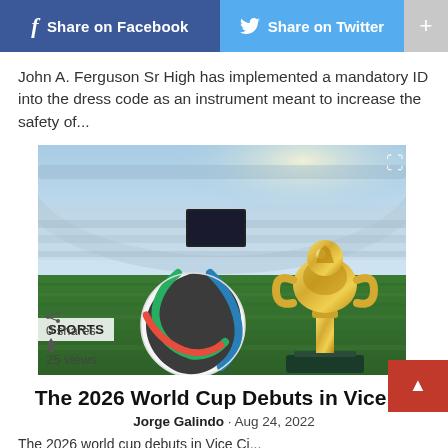Share on Facebook  Share on Twitter  +
John A. Ferguson Sr High has implemented a mandatory ID into the dress code as an instrument meant to increase the safety of...
[Figure (photo): World Cup trophy and soccer ball on green grass inside a large stadium. SPORTS tag overlay. 0 shares, 25 views.]
The 2026 World Cup Debuts in Vice Ci
Jorge Galindo · Aug 24, 2022
The 2026 world cup debuts in Vice Ci...